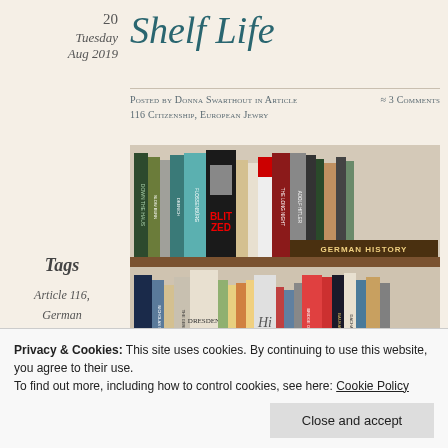20 Tuesday Aug 2019
Shelf Life
Posted by Donna Swarthout in Article ≈ 3 Comments 116 Citizenship, European Jewry
[Figure (photo): Photograph of two shelves of books related to German history. Upper shelf labeled 'GERMAN HISTORY' with titles including 'Down the Haus', 'Blitzed', 'The Long Night', 'Adolf Hitler', and others. Lower shelf contains additional books including 'Dresden', 'Bauhaus', 'Bridge of Spies' among others.]
Tags
Article 116,
German citizenship,
German Jews,
Jewish
Privacy & Cookies: This site uses cookies. By continuing to use this website, you agree to their use.
To find out more, including how to control cookies, see here: Cookie Policy
Close and accept